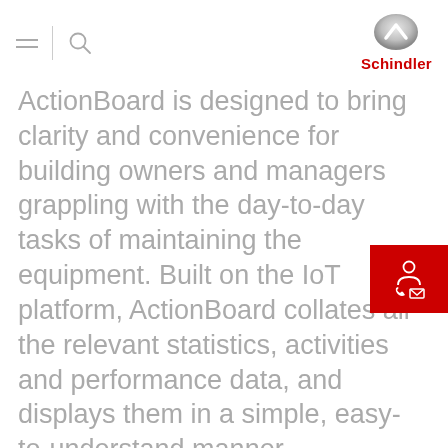Schindler
ActionBoard is designed to bring clarity and convenience for building owners and managers grappling with the day-to-day tasks of maintaining the equipment. Built on the IoT platform, ActionBoard collates all the relevant statistics, activities and performance data, and displays them in a simple, easy-to-understand manner.
Downloads